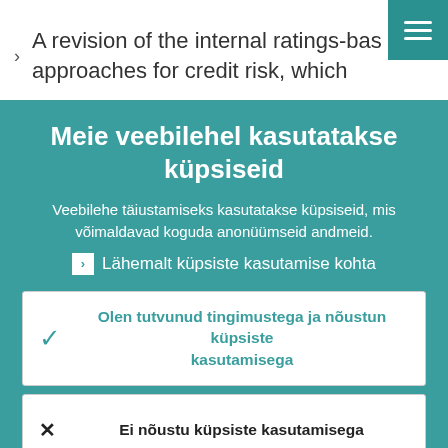> A revision of the internal ratings-based approaches for credit risk, which
[Figure (screenshot): Hamburger menu icon button with teal background in top-right corner]
Meie veebilehel kasutatakse küpsiseid
Veebilehe täiustamiseks kasutatakse küpsiseid, mis võimaldavad koguda anonüümseid andmeid.
> Lähemalt küpsiste kasutamise kohta
Olen tutvunud tingimustega ja nõustun küpsiste kasutamisega
Ei nõustu küpsiste kasutamisega